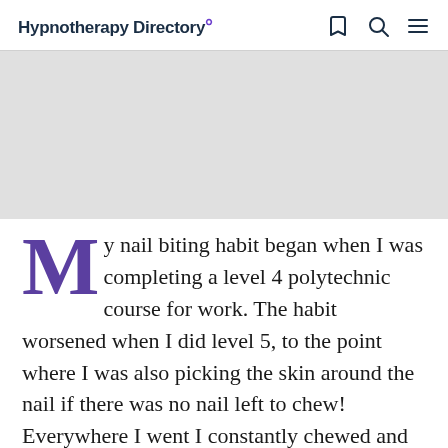Hypnotherapy Directory°
[Figure (photo): Gray placeholder image area representing a photograph]
My nail biting habit began when I was completing a level 4 polytechnic course for work. The habit worsened when I did level 5, to the point where I was also picking the skin around the nail if there was no nail left to chew! Everywhere I went I constantly chewed and picked with embarrassment also. Starting the habit in the